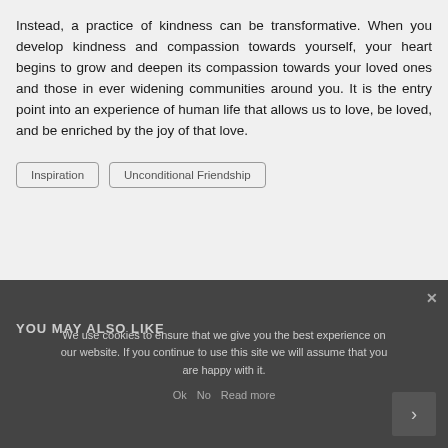Instead, a practice of kindness can be transformative. When you develop kindness and compassion towards yourself, your heart begins to grow and deepen its compassion towards your loved ones and those in ever widening communities around you. It is the entry point into an experience of human life that allows us to love, be loved, and be enriched by the joy of that love.
Inspiration
Unconditional Friendship
YOU MAY ALSO LIKE
We use cookies to ensure that we give you the best experience on our website. If you continue to use this site we will assume that you are happy with it.
Ok   No   Read more